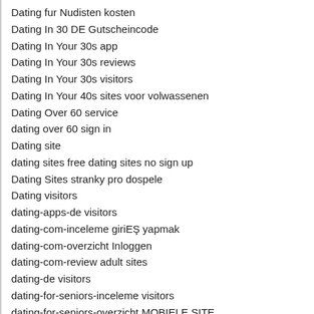Dating fur Nudisten kosten
Dating In 30 DE Gutscheincode
Dating In Your 30s app
Dating In Your 30s reviews
Dating In Your 30s visitors
Dating In Your 40s sites voor volwassenen
Dating Over 60 service
dating over 60 sign in
Dating site
dating sites free dating sites no sign up
Dating Sites stranky pro dospele
Dating visitors
dating-apps-de visitors
dating-com-inceleme giriEŞ yapmak
dating-com-overzicht Inloggen
dating-com-review adult sites
dating-de visitors
dating-for-seniors-inceleme visitors
dating-for-seniors-overzicht MOBIELE SITE
dating-in-spanish review